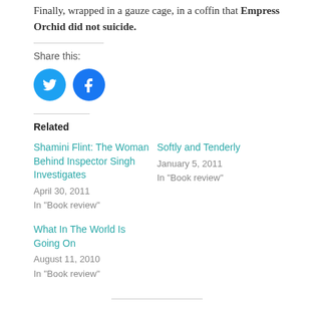Finally, wrapped in a gauze cage, in a coffin that Empress Orchid did not suicide.
Share this:
[Figure (infographic): Twitter and Facebook social share icon buttons (blue circles with white bird and f icons)]
Related
Shamini Flint: The Woman Behind Inspector Singh Investigates
April 30, 2011
In "Book review"
Softly and Tenderly
January 5, 2011
In "Book review"
What In The World Is Going On
August 11, 2010
In "Book review"